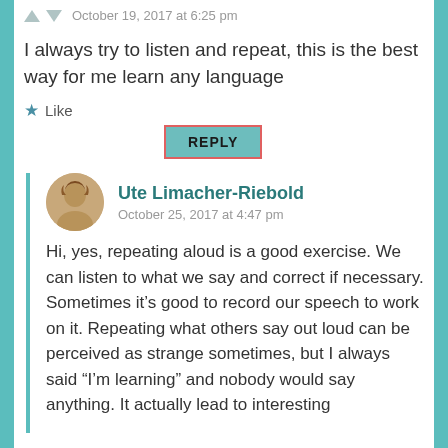October 19, 2017 at 6:25 pm
I always try to listen and repeat, this is the best way for me learn any language
Like
REPLY
Ute Limacher-Riebold
October 25, 2017 at 4:47 pm
Hi, yes, repeating aloud is a good exercise. We can listen to what we say and correct if necessary. Sometimes it’s good to record our speech to work on it. Repeating what others say out loud can be perceived as strange sometimes, but I always said “I’m learning” and nobody would say anything. It actually lead to interesting